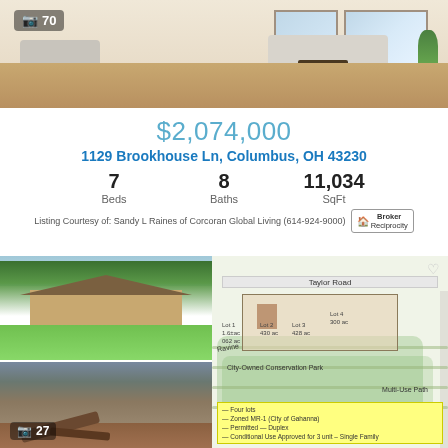[Figure (photo): Aerial/overhead view of a luxury interior living room with white sofas, hardwood floors, and large windows. Badge showing '70' photos.]
$2,074,000
1129 Brookhouse Ln, Columbus, OH 43230
| Beds | Baths | SqFt |
| --- | --- | --- |
| 7 | 8 | 11,034 |
Listing Courtesy of: Sandy L Raines of Corcoran Global Living (614-924-9000)
[Figure (photo): Exterior photo of a craftsman-style house surrounded by lush green trees and manicured lawn.]
[Figure (photo): Photo of wooded area with fallen trees and forest floor. Badge showing '27' photos.]
[Figure (map): Site/plat map showing Taylor Road, lot subdivisions (Lot 1, Lot 2, Lot 3, Lot 4), ravine, City-Owned Conservation Park, Multi-Use Path, with yellow legend box.]